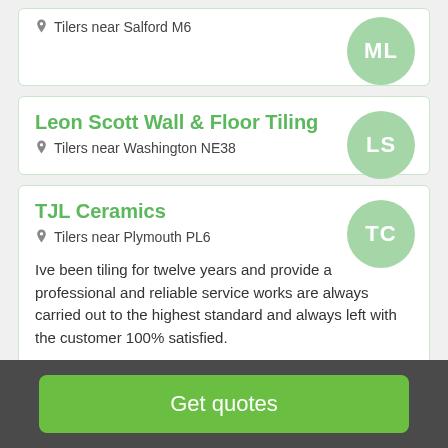Tilers near Salford M6
Leon Scott Wall & Floor Tiling
Tilers near Washington NE38
TJL Ceramics
Tilers near Plymouth PL6
Ive been tiling for twelve years and provide a professional and reliable service works are always carried out to the highest standard and always left with the customer 100% satisfied.
Get quotes